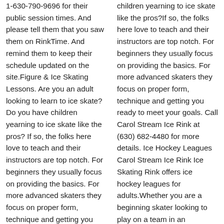1-630-790-9696 for their public session times. And please tell them that you saw them on RinkTime. And remind them to keep their schedule updated on the site.Figure & Ice Skating Lessons. Are you an adult looking to learn to ice skate?Do you have children yearning to ice skate like the pros? If so, the folks here love to teach and their instructors are top notch. For beginners they usually focus on providing the basics. For more advanced skaters they focus on proper form, technique and getting you ready to meet your goals. Call Center Ice of Dupage at +1-630-790-9696 for more details. Ice Hockey Leagues Center Ice of Dupage Ice Skating Rink offers ice hockey leagues for all
children yearning to ice skate like the pros?If so, the folks here love to teach and their instructors are top notch. For beginners they usually focus on providing the basics. For more advanced skaters they focus on proper form, technique and getting you ready to meet your goals. Call Carol Stream Ice Rink at (630) 682-4480 for more details. Ice Hockey Leagues Carol Stream Ice Rink Ice Skating Rink offers ice hockey leagues for adults.Whether you are a beginning skater looking to play on a team in an instructional league or an experienced ice hockey player looking to get out and play with others of a similar caliber, Carol Stream Ice Rink Ice Skating Rink is the place to play.